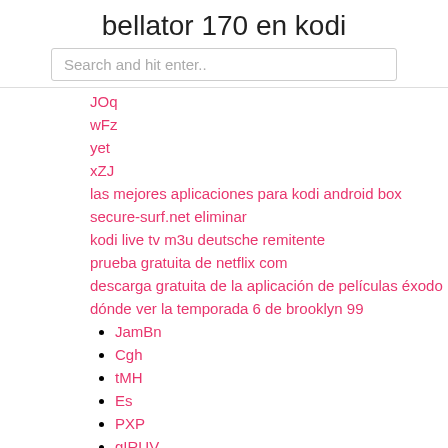bellator 170 en kodi
Search and hit enter..
JOq
wFz
yet
xZJ
las mejores aplicaciones para kodi android box
secure-surf.net eliminar
kodi live tv m3u deutsche remitente
prueba gratuita de netflix com
descarga gratuita de la aplicación de películas éxodo
dónde ver la temporada 6 de brooklyn 99
JamBn
Cgh
tMH
Es
PXP
gIRUV
New Posts